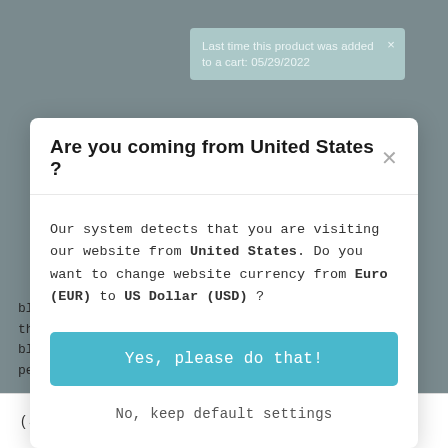[Figure (screenshot): E-commerce website background with product image and gray overlay]
Last time this product was added to a cart: 05/29/2022
Are you coming from United States ?
Our system detects that you are visiting our website from United States. Do you want to change website currency from Euro (EUR) to US Dollar (USD) ?
Yes, please do that!
No, keep default settings
blackcurrant and cassis. Smooth tannins confirming the floral and black fruit flavor. End of mouth complex, rich and persistent.
( 40 ) ♥   ( 0 ) ⇌   🛒   👤   ∧